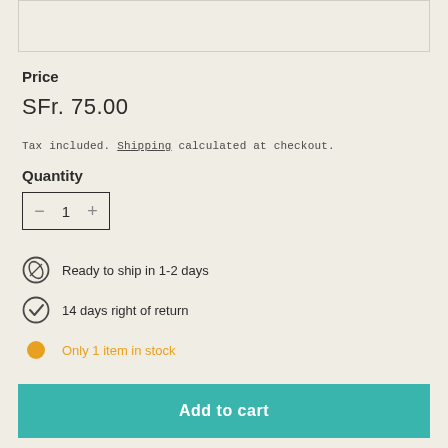[Figure (other): Top border box element (partial UI card top)]
Price
SFr. 75.00
Tax included. Shipping calculated at checkout.
Quantity
- 1 +
Ready to ship in 1-2 days
14 days right of return
Only 1 item in stock
Add to cart